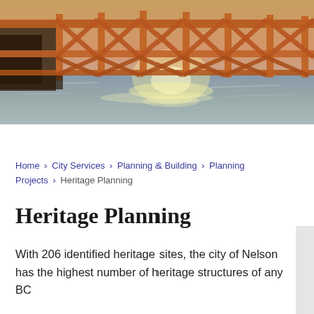[Figure (photo): Photograph of an orange steel bridge truss structure over water, with sunlight reflecting off the water below. The bridge structure has a lattice/truss design in orange/rust color against a sky backdrop.]
Home › City Services › Planning & Building › Planning Projects › Heritage Planning
Heritage Planning
With 206 identified heritage sites, the city of Nelson has the highest number of heritage structures of any BC